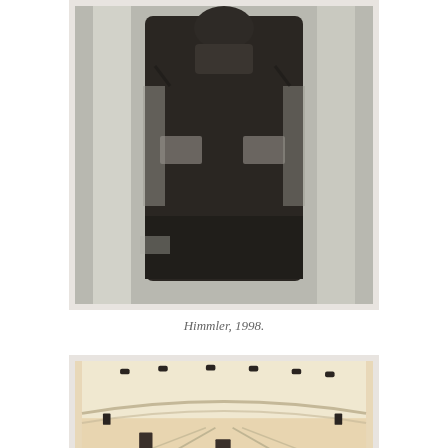[Figure (illustration): A dark, blurry painted portrait of a figure (Himmler) in dark clothing, rendered in muted grays and blacks against a light background.]
Himmler, 1998.
[Figure (illustration): A painting depicting an interior room or chamber with a curved ceiling and walls, rendered in pale beige/cream tones with dark marks or hooks along the ceiling and walls, and a dark doorway at the center bottom.]